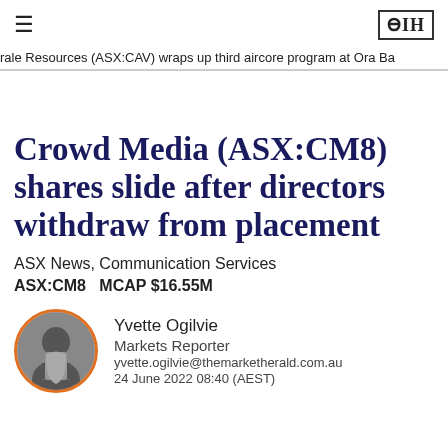≡   ΞΙΗ
rale Resources (ASX:CAV) wraps up third aircore program at Ora Ba
Crowd Media (ASX:CM8) shares slide after directors withdraw from placement
ASX News, Communication Services
ASX:CM8   MCAP $16.55M
Yvette Ogilvie
Markets Reporter
yvette.ogilvie@themarketherald.com.au
24 June 2022 08:40 (AEST)